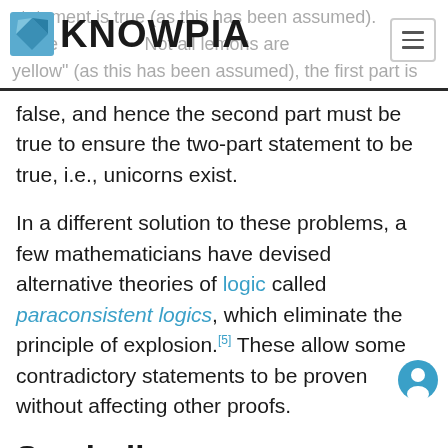KNOWPIA
false, and hence the second part must be true to ensure the two-part statement to be true, i.e., unicorns exist.
In a different solution to these problems, a few mathematicians have devised alternative theories of logic called paraconsistent logics, which eliminate the principle of explosion.[5] These allow some contradictory statements to be proven without affecting other proofs.
Symbolic representation Edit
In symbolic logic, the principle of explosion can be expressed schematically in the following way: